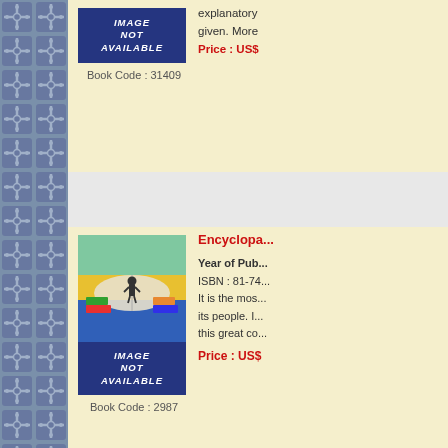[Figure (other): Left decorative sidebar with repeating cross/star tile pattern in blue-grey]
[Figure (other): Book card 1: Image Not Available placeholder, Book Code 31409, with partial text about explanatory notes and price in US$]
[Figure (other): Book card 2: Encyclopaedia book with colorful cover image and image not available overlay, Book Code 2987, Year of Publication, ISBN 81-74, text about most its people, price in US$]
Previous  1 2 3 4 5 6 7 8 9 ... 26 27 28 29 30 31 32 33 34 35 ... 52 53 54 55 56 57 58 59 60 61 ... 78 79 80 81 82 83 84 85 86 87 ... 103 104 105 106 107 108 109 ... 121 122 123 124 125 126 127 ... 139 140 141 142 143 144 145 ... 157 158 159 160 161 162 163 ... 175 176 177 178 179 180 181 ... 193 194 195 196 197 198 199 ... 211 212 213 ...